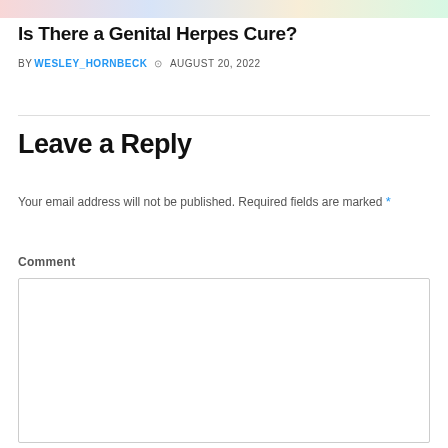[Figure (photo): Colorful image strip at the top of the page]
Is There a Genital Herpes Cure?
BY WESLEY_HORNBECK  © AUGUST 20, 2022
Leave a Reply
Your email address will not be published. Required fields are marked *
Comment